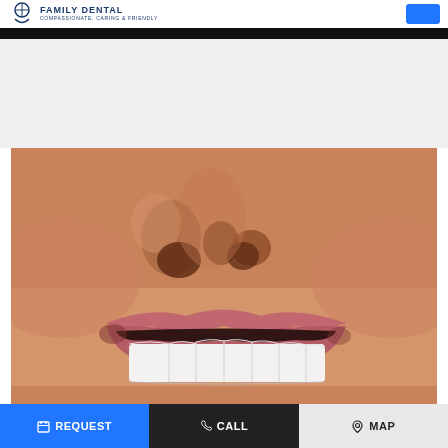FAMILY DENTAL — COMPASSIONATE, CARING & FRIENDLY
[Figure (photo): Close-up photo of a person smiling showing bright white teeth and the lower portion of nose and lips]
REQUEST
CALL
MAP